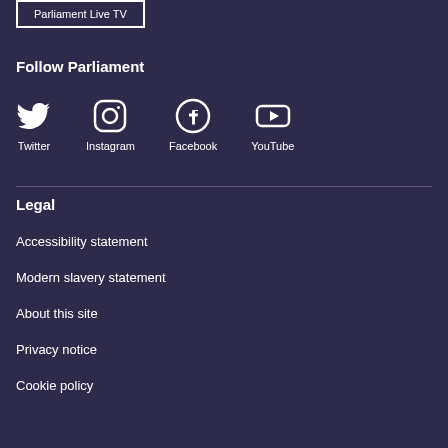Parliament Live TV
Follow Parliament
[Figure (infographic): Social media icons: Twitter, Instagram, Facebook, YouTube]
Legal
Accessibility statement
Modern slavery statement
About this site
Privacy notice
Cookie policy